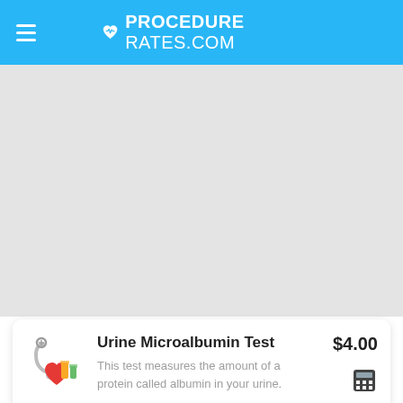PROCEDURE RATES.COM
[Figure (screenshot): Gray content area placeholder]
[Figure (illustration): Medical illustration with stethoscope, heart, and medicine bottles icon]
Urine Microalbumin Test
$4.00
This test measures the amount of a protein called albumin in your urine.